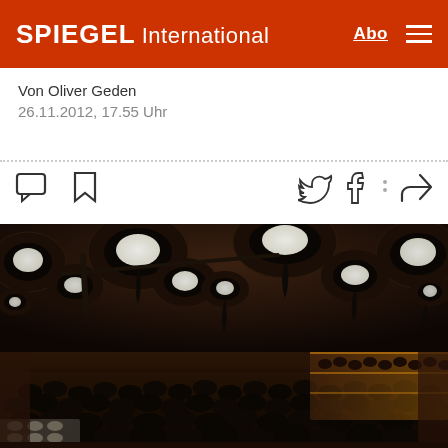SPIEGEL International
Von Oliver Geden
26.11.2012, 17.55 Uhr
[Figure (photo): Large conference hall with audience seated in rows, ornate circular ceiling lights, warm amber-lit balcony seating on the right, view from stage level looking into the crowd at what appears to be a UN climate conference (COP18/Doha 2012).]